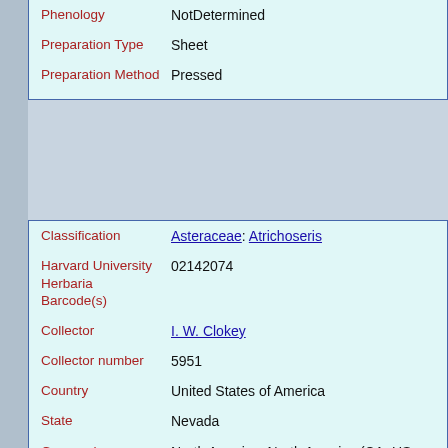| Field | Value |
| --- | --- |
| Phenology | NotDetermined |
| Preparation Type | Sheet |
| Preparation Method | Pressed |
| Field | Value |
| --- | --- |
| Classification | Asteraceae: Atrichoseris |
| Harvard University Herbaria Barcode(s) | 02142074 |
| Collector | I. W. Clokey |
| Collector number | 5951 |
| Country | United States of America |
| State | Nevada |
| Geography | North America: North America (CA, US, MX) (Region): United States of America: Nevada: Clark County |
| Locality | [data not captured] |
| Date Collected | 1941-04-29 |